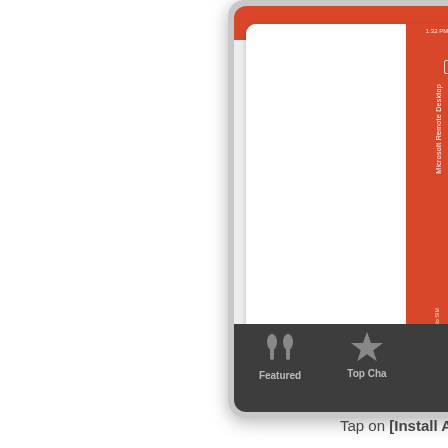[Figure (screenshot): Partial screenshot of an iPad/iPhone showing the Apple App Store with Microsoft Remote Desktop app visible. The screen shows a red-themed UI with the app's icon and name. The bottom App Store navigation bar shows 'Featured' and 'Top Cha...' tabs. The device is cropped on the right side of the page.]
Tap on [Install App] to